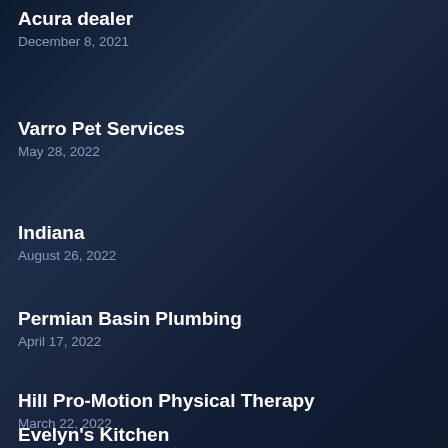Acura dealer
December 8, 2021
Varro Pet Services
May 28, 2022
Indiana
August 26, 2022
Permian Basin Plumbing
April 17, 2022
Hill Pro-Motion Physical Therapy
March 22, 2022
Evelyn's Kitchen